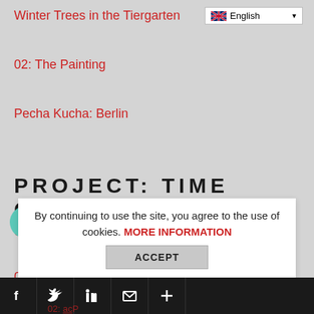Winter Trees in the Tiergarten
02: The Painting
Pecha Kucha: Berlin
PROJECT: TIME CAPSULE
02: The Painting
01: The Flat
PROJECT – THE STAGE
13: Prayer
By continuing to use the site, you agree to the use of cookies. MORE INFORMATION
ACCEPT